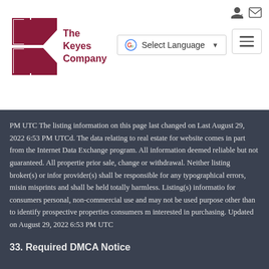[Figure (logo): The Keyes Company logo with stylized K in dark red/maroon and company name text]
[Figure (other): Google Translate Select Language button]
[Figure (other): Login and mail icons top right, hamburger menu button]
PM UTC The listing information on this page last changed on Last August 29, 2022 6:53 PM UTCd. The data relating to real estate for website comes in part from the Internet Data Exchange program. All information deemed reliable but not guaranteed. All properties prior sale, change or withdrawal. Neither listing broker(s) or information provider(s) shall be responsible for any typographical errors, misinformation, misprints and shall be held totally harmless. Listing(s) information is for consumers personal, non-commercial use and may not be used for any purpose other than to identify prospective properties consumers may be interested in purchasing. Updated on August 29, 2022 6:53 PM UTC
33. Required DMCA Notice